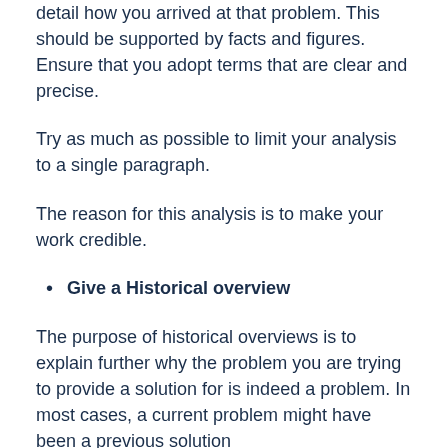detail how you arrived at that problem. This should be supported by facts and figures. Ensure that you adopt terms that are clear and precise.
Try as much as possible to limit your analysis to a single paragraph.
The reason for this analysis is to make your work credible.
Give a Historical overview
The purpose of historical overviews is to explain further why the problem you are trying to provide a solution for is indeed a problem. In most cases, a current problem might have been a previous solution